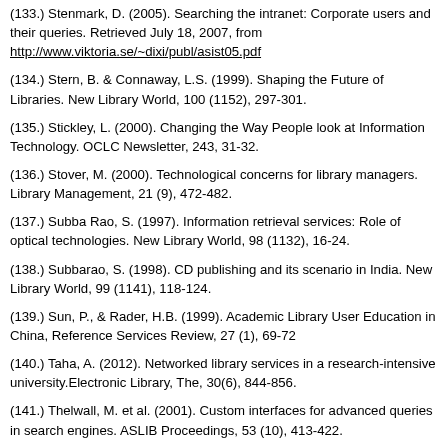(133.) Stenmark, D. (2005). Searching the intranet: Corporate users and their queries. Retrieved July 18, 2007, from http://www.viktoria.se/~dixi/publ/asist05.pdf
(134.) Stern, B. & Connaway, L.S. (1999). Shaping the Future of Libraries. New Library World, 100 (1152), 297-301.
(135.) Stickley, L. (2000). Changing the Way People look at Information Technology. OCLC Newsletter, 243, 31-32.
(136.) Stover, M. (2000). Technological concerns for library managers. Library Management, 21 (9), 472-482.
(137.) Subba Rao, S. (1997). Information retrieval services: Role of optical technologies. New Library World, 98 (1132), 16-24.
(138.) Subbarao, S. (1998). CD publishing and its scenario in India. New Library World, 99 (1141), 118-124.
(139.) Sun, P., & Rader, H.B. (1999). Academic Library User Education in China, Reference Services Review, 27 (1), 69-72
(140.) Taha, A. (2012). Networked library services in a research-intensive university.Electronic Library, The, 30(6), 844-856.
(141.) Thelwall, M. et al. (2001). Custom interfaces for advanced queries in search engines. ASLIB Proceedings, 53 (10), 413-422.
(142.) Thompson, A.J. (2007). Information seeking behaviour of distance education students. A master's paper for the M.S. in L.S degree. Advisor: